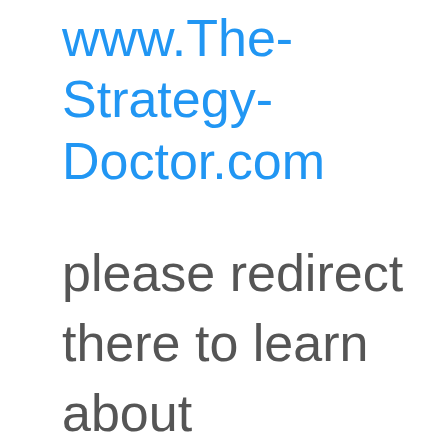www.The-Strategy-Doctor.com
please redirect there to learn about our

robust strategic and quick attack